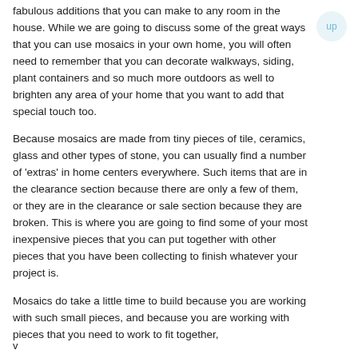fabulous additions that you can make to any room in the house. While we are going to discuss some of the great ways that you can use mosaics in your own home, you will often need to remember that you can decorate walkways, siding, plant containers and so much more outdoors as well to brighten any area of your home that you want to add that special touch too.
Because mosaics are made from tiny pieces of tile, ceramics, glass and other types of stone, you can usually find a number of 'extras' in home centers everywhere. Such items that are in the clearance section because there are only a few of them, or they are in the clearance or sale section because they are broken. This is where you are going to find some of your most inexpensive pieces that you can put together with other pieces that you have been collecting to finish whatever your project is.
Mosaics do take a little time to build because you are working with such small pieces, and because you are working with pieces that you need to work to fit together,
v